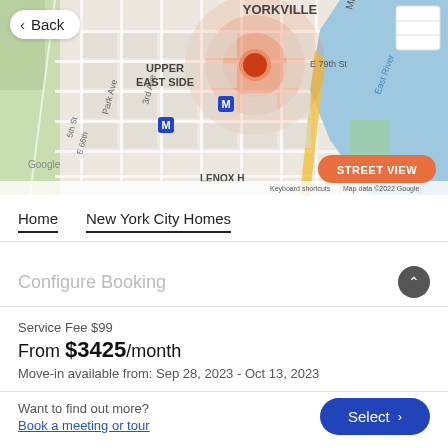[Figure (map): Google Maps view showing Upper East Side, Yorkville, Manhattan with street grid, East River, orange heatmap circle centered near E 79th St, two blue M (subway) markers, and a Street View button]
Back
STREET VIEW
UPPER EAST SIDE
YORKVILLE
Keyboard shortcuts  Map data ©2022 Google  Terms of Use
Home
New York City Homes
Configure Booking
Service Fee $99
From $3425/month
Move-in available from: Sep 28, 2023 - Oct 13, 2023
Want to find out more?
Book a meeting or tour
Select